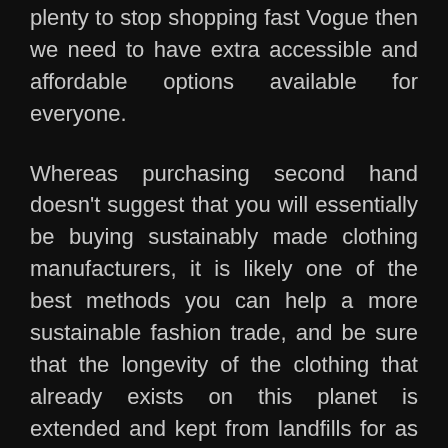plenty to stop shopping fast Vogue then we need to have extra accessible and affordable options available for everyone.
Whereas purchasing second hand doesn't suggest that you will essentially be buying sustainably made clothing manufacturers, it is likely one of the best methods you can help a more sustainable fashion trade, and be sure that the longevity of the clothing that already exists on this planet is extended and kept from landfills for as long as doable.
In recent years City Outfitters has grown to deliver an expanded product range however